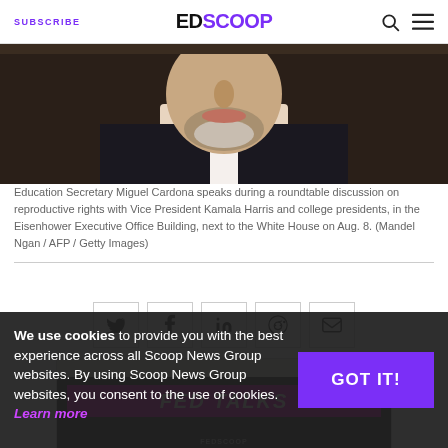SUBSCRIBE | EDSCOOP
[Figure (photo): Close-up photo of Education Secretary Miguel Cardona's face and collar, dark background]
Education Secretary Miguel Cardona speaks during a roundtable discussion on reproductive rights with Vice President Kamala Harris and college presidents, in the Eisenhower Executive Office Building, next to the White House on Aug. 8. (Mandel Ngan / AFP / Getty Images)
[Figure (infographic): Social media share buttons row: Twitter, Facebook, LinkedIn, Reddit, Email]
[Figure (screenshot): Advertisement banner showing FED TALKS text on magenta background over dark background with FEDSCOOP branding]
We use cookies to provide you with the best experience across all Scoop News Group websites. By using Scoop News Group websites, you consent to the use of cookies. Learn more
GOT IT!